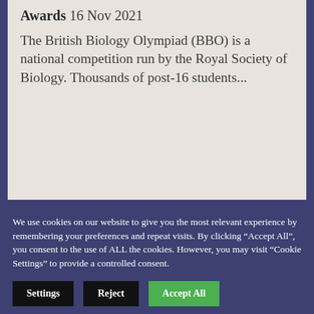Awards 16 Nov 2021
The British Biology Olympiad (BBO) is a national competition run by the Royal Society of Biology. Thousands of post-16 students...
We use cookies on our website to give you the most relevant experience by remembering your preferences and repeat visits. By clicking "Accept All", you consent to the use of ALL the cookies. However, you may visit "Cookie Settings" to provide a controlled consent.